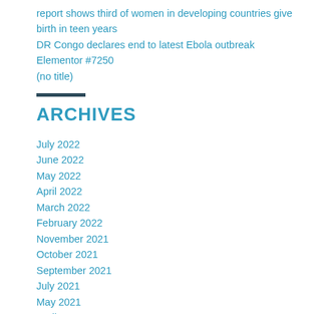report shows third of women in developing countries give birth in teen years
DR Congo declares end to latest Ebola outbreak
Elementor #7250
(no title)
ARCHIVES
July 2022
June 2022
May 2022
April 2022
March 2022
February 2022
November 2021
October 2021
September 2021
July 2021
May 2021
April 2021
March 2021
February 2021